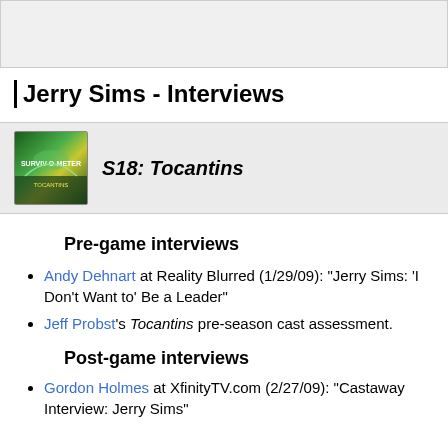[Figure (other): Top gray banner/navigation bar area]
Jerry Sims - Interviews
[Figure (logo): Survivor S18 Tocantins Surviv-O-Meter logo image — green and yellow jungle themed logo]
Pre-game interviews
Andy Dehnart at Reality Blurred (1/29/09): "Jerry Sims: 'I Don't Want to' Be a Leader"
Jeff Probst's Tocantins pre-season cast assessment.
Post-game interviews
Gordon Holmes at XfinityTV.com (2/27/09): "Castaway Interview: Jerry Sims"